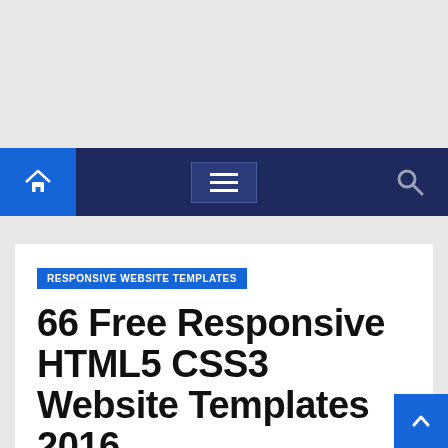[Figure (screenshot): Top gray area representing an advertisement or banner placeholder zone]
[Figure (screenshot): Dark navy navigation bar with home button (blue square, house icon), hamburger menu icon in center box, and search magnifier icon on right]
RESPONSIVE WEBSITE TEMPLATES
66 Free Responsive HTML5 CSS3 Website Templates 2016
By adthemedipia